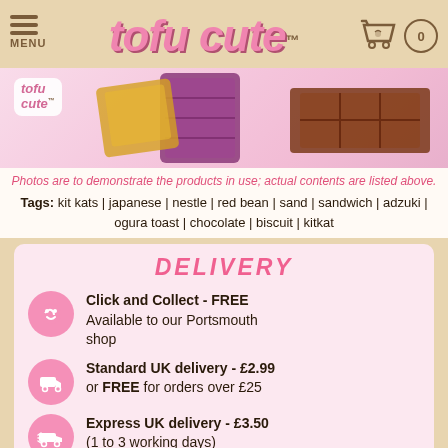tofu cute™ — MENU | cart 0
[Figure (photo): Product photo showing Japanese Kit Kat chocolate bars and a purple/pink wrapper on a pink background, with tofu cute logo in top left]
Photos are to demonstrate the products in use; actual contents are listed above.
Tags: kit kats | japanese | nestle | red bean | sand | sandwich | adzuki | ogura toast | chocolate | biscuit | kitkat
DELIVERY
Click and Collect - FREE
Available to our Portsmouth shop
Standard UK delivery - £2.99 or FREE for orders over £25
Express UK delivery - £3.50 (1 to 3 working days)
Europe delivery from £2.00
Worldwide delivery from £3.00